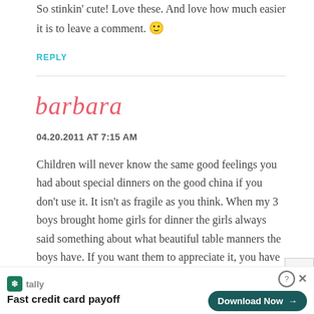So stinkin cute! Love these. And love how much easier it is to leave a comment. 😊
REPLY
barbara
04.20.2011 AT 7:15 AM
Children will never know the same good feelings you had about special dinners on the good china if you don't use it. It isn't as fragile as you think. When my 3 boys brought home girls for dinner the girls always said something about what beautiful table manners the boys have. If you want them to appreciate it, you have to take it out of the box and use it. If you want them to learn to ea...re...
[Figure (screenshot): Advertisement banner for Tally app: 'Fast credit card payoff' with Download Now button and close controls]